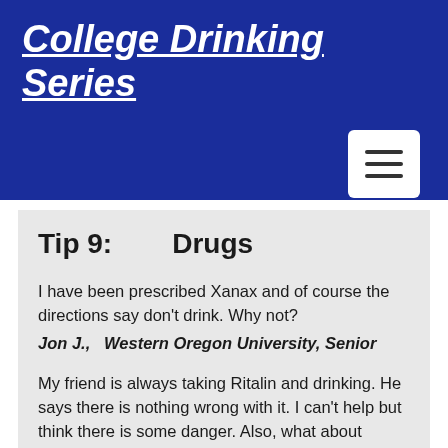College Drinking Series
Tip 9:    Drugs
I have been prescribed Xanax and of course the directions say don't drink.  Why not?
Jon J.,   Western Oregon University, Senior
My friend is always taking Ritalin and drinking.  He says there is nothing wrong with it.  I can't help but think there is some danger.  Also, what about mixing beer with Valium?  My other friend likes that